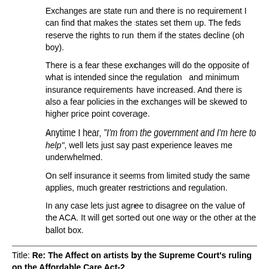Exchanges are state run and there is no requirement I can find that makes the states set them up.  The feds reserve the rights to run them if the states decline (oh boy).
There is a fear these exchanges will do the opposite of what is intended since the regulation  and minimum insurance requirements have increased. And there is also a fear policies in the exchanges will be skewed to higher price point coverage.
Anytime I hear, "I'm from the government and I'm here to help", well lets just say past experience leaves me underwhelmed.
On self insurance it seems from limited study the same applies, much greater restrictions and regulation.
In any case lets just agree to disagree on the value of the ACA.  It will get sorted out one way or the other at the ballot box.
Title: Re: The Affect on artists by the Supreme Court's ruling on the Affordable Care Act-2
Post by: Craig Lamson on July 13, 2012, 02:32:07 pm
Quote from: Bryan Conner on July 13, 2012, 02:25:38 pm
Once again, as an American living in Germany, I think the healthcare system in America is terribly broken.  Medical costs are way too high. Why are they so